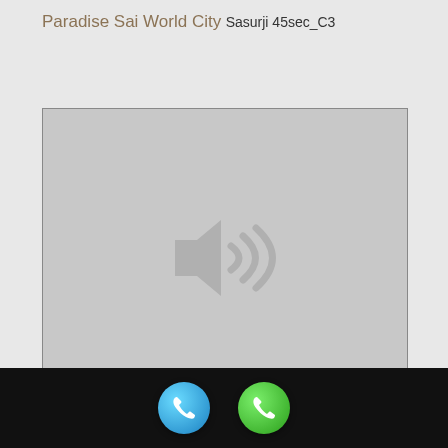Paradise Sai World City
Sasurji 45sec_C3
[Figure (screenshot): Audio/video media placeholder with a speaker/sound icon in the center on a gray background]
[Figure (infographic): Black bottom bar with two circular phone buttons: a blue phone icon (call) and a green phone icon (WhatsApp)]